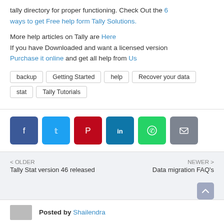tally directory for proper functioning. Check Out the 6 ways to get Free help form Tally Solutions.
More help articles on Tally are Here
If you have Downloaded and want a licensed version Purchase it online and get all help from Us
backup
Getting Started
help
Recover your data
stat
Tally Tutorials
[Figure (infographic): Social share buttons: Facebook, Twitter, Pinterest, LinkedIn, WhatsApp, Email]
< OLDER
Tally Stat version 46 released
NEWER >
Data migration FAQ's
Posted by Shailendra